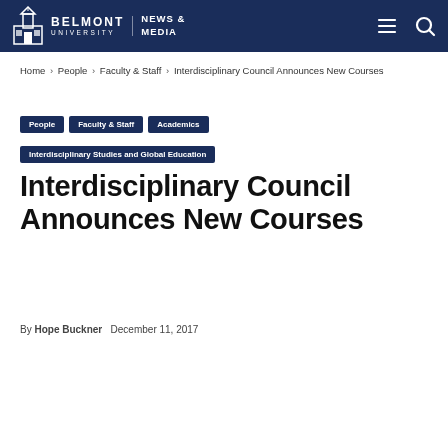Belmont University News & Media
Home › People › Faculty & Staff › Interdisciplinary Council Announces New Courses
People
Faculty & Staff
Academics
Interdisciplinary Studies and Global Education
Interdisciplinary Council Announces New Courses
By Hope Buckner   December 11, 2017